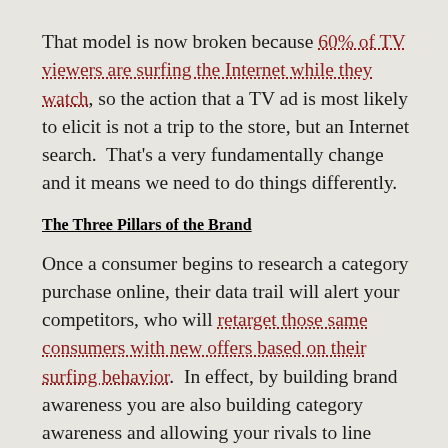That model is now broken because 60% of TV viewers are surfing the Internet while they watch, so the action that a TV ad is most likely to elicit is not a trip to the store, but an Internet search.  That's a very fundamentally change and it means we need to do things differently.
The Three Pillars of the Brand
Once a consumer begins to research a category purchase online, their data trail will alert your competitors, who will retarget those same consumers with new offers based on their surfing behavior.   In effect, by building brand awareness you are also building category awareness and allowing your rivals to line their coffers.
To respond to the new challenges many marketers